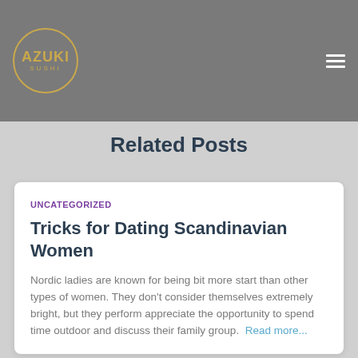[Figure (logo): Azuki Sushi logo — circular gold border with AZUKI in bold gold text and SUSHI in small spaced letters below, on a grey header bar. A hamburger menu icon in white is at the top right.]
Related Posts
UNCATEGORIZED
Tricks for Dating Scandinavian Women
Nordic ladies are known for being bit more start than other types of women. They don't consider themselves extremely bright, but they perform appreciate the opportunity to spend time outdoor and discuss their family group.  Read more...